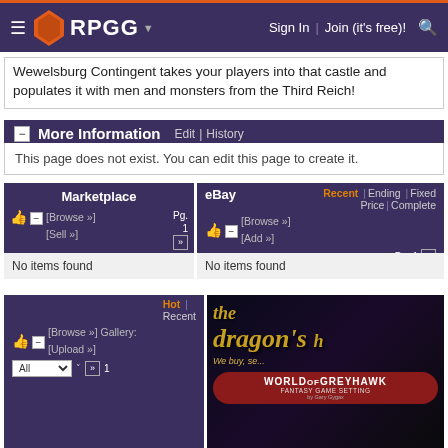RPGG | Sign In | Join (it's free)!
Wewelsburg Contingent takes your players into that castle and populates it with men and monsters from the Third Reich!
More Information | Edit | History
This page does not exist. You can edit this page to create it.
Marketplace
No items found
eBay | Recent | Ending | Fixed Price | Complete
No items found
Images | Hot | Recent
[Figure (screenshot): Cast of Cards - Wewelsburg Contingent product image thumbnail]
[Figure (screenshot): The Dragon's advertisement - World of Greyhawk Fantasy Game Setting]